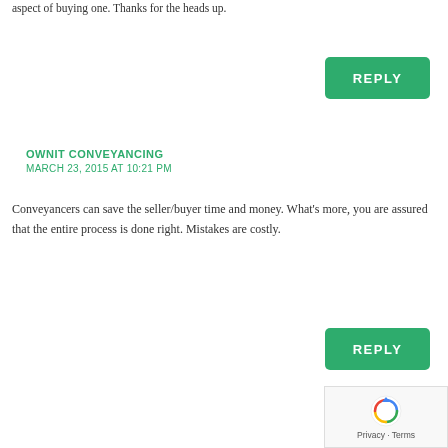aspect of buying one. Thanks for the heads up.
REPLY
OWNIT CONVEYANCING
MARCH 23, 2015 AT 10:21 PM
Conveyancers can save the seller/buyer time and money. What’s more, you are assured that the entire process is done right. Mistakes are costly.
REPLY
[Figure (logo): reCAPTCHA badge with spinning arrows logo and Privacy - Terms text]